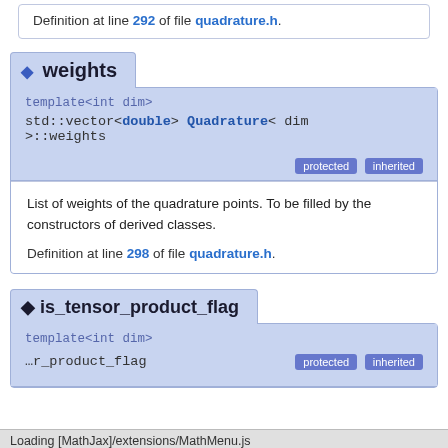Definition at line 292 of file quadrature.h.
weights
template<int dim>
std::vector<double> Quadrature< dim >::weights
protected inherited
List of weights of the quadrature points. To be filled by the constructors of derived classes.
Definition at line 298 of file quadrature.h.
is_tensor_product_flag
template<int dim>
protected inherited
Loading [MathJax]/extensions/MathMenu.js